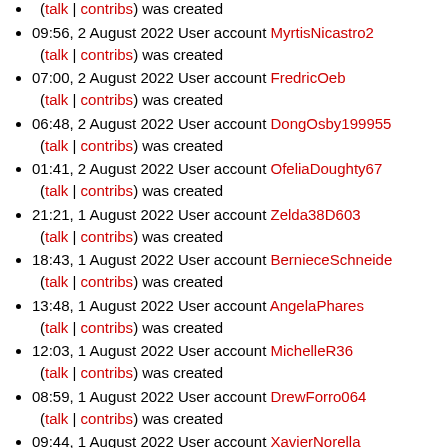(talk | contribs) was created
09:56, 2 August 2022 User account MyrtisNicastro2 (talk | contribs) was created
07:00, 2 August 2022 User account FredricOeb (talk | contribs) was created
06:48, 2 August 2022 User account DongOsby199955 (talk | contribs) was created
01:41, 2 August 2022 User account OfeliaDoughty67 (talk | contribs) was created
21:21, 1 August 2022 User account Zelda38D603 (talk | contribs) was created
18:43, 1 August 2022 User account BernieceSchneide (talk | contribs) was created
13:48, 1 August 2022 User account AngelaPhares (talk | contribs) was created
12:03, 1 August 2022 User account MichelleR36 (talk | contribs) was created
08:59, 1 August 2022 User account DrewForro064 (talk | contribs) was created
09:44, 1 August 2022 User account XavierNorella (talk | contribs) was created